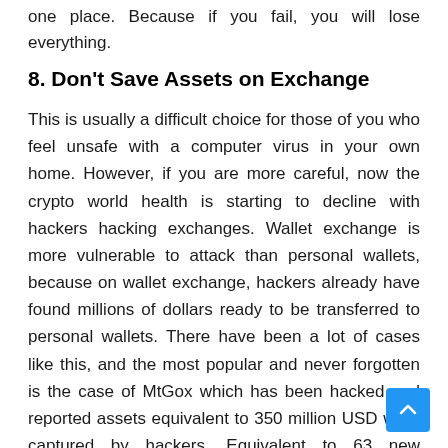one place. Because if you fail, you will lose everything.
8. Don't Save Assets on Exchange
This is usually a difficult choice for those of you who feel unsafe with a computer virus in your own home. However, if you are more careful, now the crypto world health is starting to decline with hackers hacking exchanges. Wallet exchange is more vulnerable to attack than personal wallets, because on wallet exchange, hackers already have found millions of dollars ready to be transferred to personal wallets. There have been a lot of cases like this, and the most popular and never forgotten is the case of MtGox which has been hacked and reported assets equivalent to 350 million USD were captured by hackers. Equivalent to 63 new lamborghini cars.
9. Use Limit & Stop Limit Orders
This is the most effective strategy in trading. Limit orders